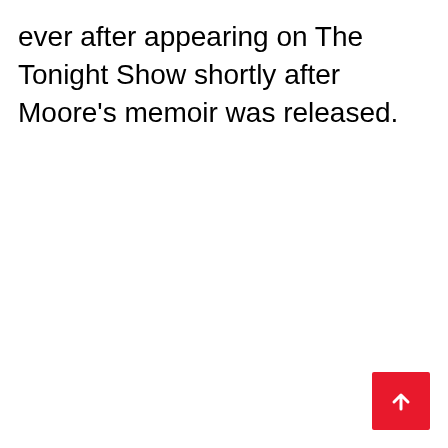ever after appearing on The Tonight Show shortly after Moore's memoir was released.
[Figure (other): Red square button with white upward-pointing arrow, positioned at bottom-right corner]